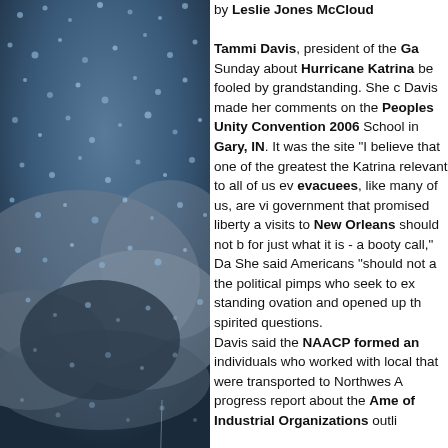[Figure (photo): Photo of rain drops on a dark stormy background with clouds and water droplets on glass]
by Leslie Jones McCloud

Tammi Davis, president of the Ga... Sunday about Hurricane Katrina... be fooled by grandstanding. She c... Davis made her comments on the... Peoples Unity Convention 2006... School in Gary, IN. It was the site... "I believe that one of the greatest... the Katrina relevant to all of us ev... evacuees, like many of us, are vi... government that promised liberty a... visits to New Orleans should not b... for just what it is - a booty call," Da... She said Americans "should not a... the political pimps who seek to ex... standing ovation and opened up th... spirited questions.

Davis said the NAACP formed an... individuals who worked with local... that were transported to Northwest... A progress report about the Amer... of Industrial Organizations outli...